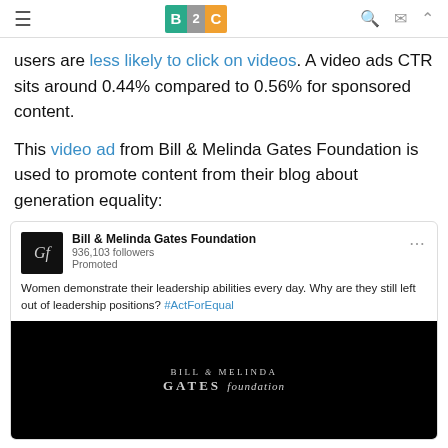B2C
users are less likely to click on videos. A video ads CTR sits around 0.44% compared to 0.56% for sponsored content.
This video ad from Bill & Melinda Gates Foundation is used to promote content from their blog about generation equality:
[Figure (screenshot): LinkedIn sponsored post from Bill & Melinda Gates Foundation (936,103 followers, Promoted) with text: 'Women demonstrate their leadership abilities every day. Why are they still left out of leadership positions? #ActForEqual' and a video thumbnail showing the Bill & Melinda Gates Foundation logo on a black background.]